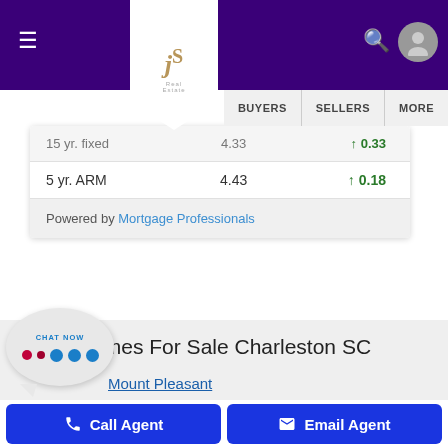Navigation bar with hamburger menu, JS Real Estate logo, search icon, user icon, and sub-nav: BUYERS | SELLERS | MORE
|  | Rate | Change |
| --- | --- | --- |
| 15 yr. fixed | 4.33 | ↑ 0.33 |
| 5 yr. ARM | 4.43 | ↑ 0.18 |
Powered by Mortgage Professionals
Homes For Sale Charleston SC
Mount Pleasant
Daniel Island
[Figure (other): Chat Now bubble widget with animated dots]
Call Agent | Email Agent